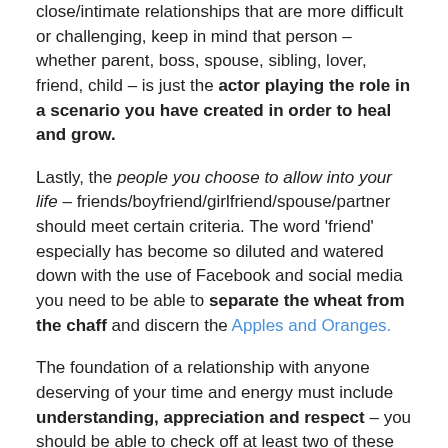close/intimate relationships that are more difficult or challenging, keep in mind that person – whether parent, boss, spouse, sibling, lover, friend, child – is just the actor playing the role in a scenario you have created in order to heal and grow.
Lastly, the people you choose to allow into your life – friends/boyfriend/girlfriend/spouse/partner should meet certain criteria. The word 'friend' especially has become so diluted and watered down with the use of Facebook and social media you need to be able to separate the wheat from the chaff and discern the Apples and Oranges.
The foundation of a relationship with anyone deserving of your time and energy must include understanding, appreciation and respect – you should be able to check off at least two of these to be considered a friend, and if you are fortunate to have someone in your life who truly